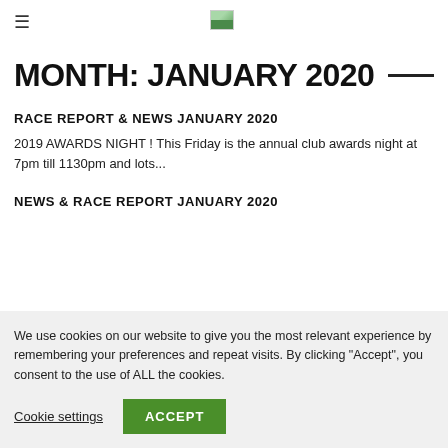≡  [logo]
MONTH: JANUARY 2020
RACE REPORT & NEWS JANUARY 2020
2019 AWARDS NIGHT ! This Friday is the annual club awards night at 7pm till 1130pm and lots...
NEWS & RACE REPORT JANUARY 2020
We use cookies on our website to give you the most relevant experience by remembering your preferences and repeat visits. By clicking "Accept", you consent to the use of ALL the cookies.
Cookie settings  ACCEPT